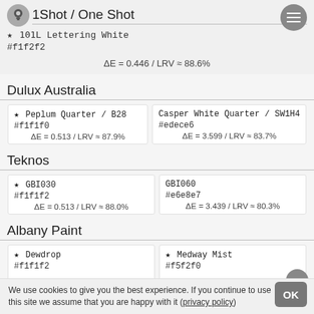1Shot / One Shot
★ 101L Lettering White
#f1f2f2
ΔE = 0.446 / LRV ≈ 88.6%
Dulux Australia
| ★ Peplum Quarter / B28
#f1f1f0
ΔE = 0.513 / LRV ≈ 87.9% | Casper White Quarter / SW1H4
#edece6
ΔE = 3.599 / LRV ≈ 83.7% |
Teknos
| ★ GBI030
#f1f1f2
ΔE = 0.513 / LRV ≈ 88.0% | GBI060
#e6e8e7
ΔE = 3.439 / LRV ≈ 80.3% |
Albany Paint
★ Dewdrop
#f1f1f2
★ Medway Mist
#f5f2f0
We use cookies to give you the best experience. If you continue to use this site we assume that you are happy with it (privacy policy)